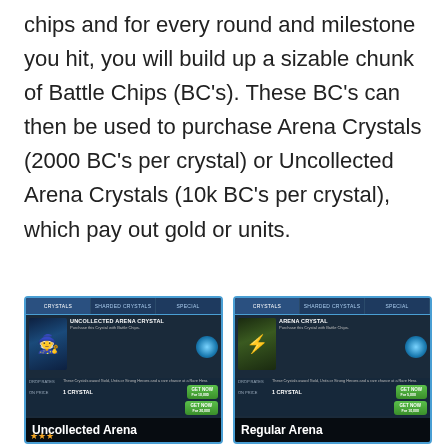chips and for every round and milestone you hit, you will build up a sizable chunk of Battle Chips (BC's). These BC's can then be used to purchase Arena Crystals (2000 BC's per crystal) or Uncollected Arena Crystals (10k BC's per crystal), which pay out gold or units.
[Figure (screenshot): Game screenshot showing Uncollected Arena Crystal purchase screen with tabs for Crystals, Sharded Crystals, Special, character image, crystal info, and buy button. Label 'Uncollected Arena' at bottom.]
[Figure (screenshot): Game screenshot showing Arena Crystal purchase screen with tabs for Crystals, Sharded Crystals, Special, character image, crystal info, and buy button. Label 'Regular Arena' at bottom.]